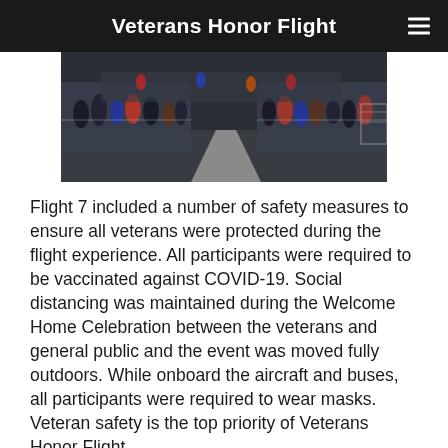Veterans Honor Flight
[Figure (photo): Outdoor crowd scene at a Welcome Home Celebration event, with people standing along both sides of what appears to be a walkway or runway area, some wearing colorful clothing, at night or dusk.]
Flight 7 included a number of safety measures to ensure all veterans were protected during the flight experience. All participants were required to be vaccinated against COVID-19. Social distancing was maintained during the Welcome Home Celebration between the veterans and general public and the event was moved fully outdoors. While onboard the aircraft and buses, all participants were required to wear masks. Veteran safety is the top priority of Veterans Honor Flight.
The Board of Directors of Veterans Honor Flight of